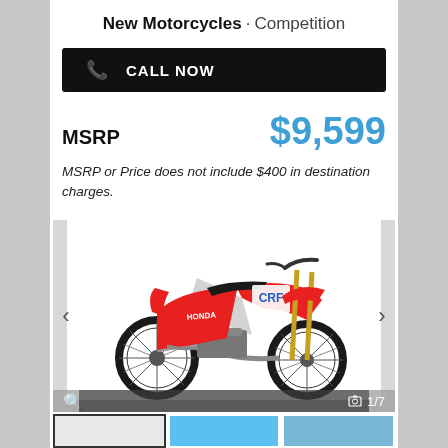New Motorcycles · Competition
CALL NOW
MSRP $9,599
MSRP or Price does not include $400 in destination charges.
[Figure (photo): Red Honda CRF dirt bike / motocross motorcycle shown in side profile on white background, with image counter 1/7]
[Figure (photo): Thumbnail 1: red dirt bike on white background]
[Figure (photo): Thumbnail 2: rider on motorcycle in action, blue sky]
[Figure (photo): Thumbnail 3: blue sky partial thumbnail]